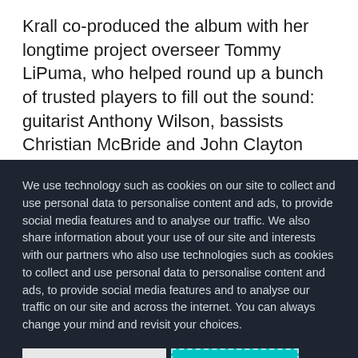Krall co-produced the album with her longtime project overseer Tommy LiPuma, who helped round up a bunch of trusted players to fill out the sound: guitarist Anthony Wilson, bassists Christian McBride and John Clayton and drummers Peter Erskine, Jeff Hamilton
We use technology such as cookies on our site to collect and use personal data to personalise content and ads, to provide social media features and to analyse our traffic. We also share information about your use of our site and interests with our partners who also use technologies such as cookies to collect and use personal data to personalise content and ads, to provide social media features and to analyse our traffic on our site and across the internet. You can always change your mind and revisit your choices.